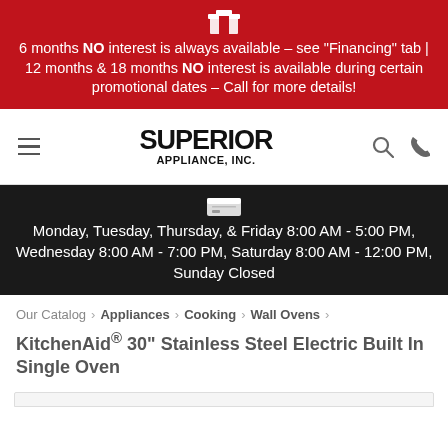6 months NO interest is always available – see "Financing" tab | 12 months & 18 months NO interest is available during certain promotional dates – Call for more details!
[Figure (logo): Superior Appliance, Inc. logo with hamburger menu, search icon, and phone icon]
Monday, Tuesday, Thursday, & Friday 8:00 AM - 5:00 PM, Wednesday 8:00 AM - 7:00 PM, Saturday 8:00 AM - 12:00 PM, Sunday Closed
Our Catalog > Appliances > Cooking > Wall Ovens > KitchenAid® 30" Stainless Steel Electric Built In Single Oven